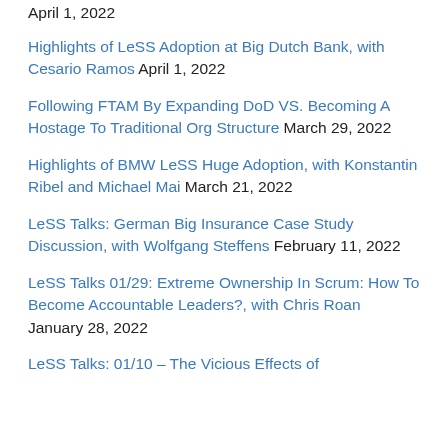April 1, 2022
Highlights of LeSS Adoption at Big Dutch Bank, with Cesario Ramos April 1, 2022
Following FTAM By Expanding DoD VS. Becoming A Hostage To Traditional Org Structure March 29, 2022
Highlights of BMW LeSS Huge Adoption, with Konstantin Ribel and Michael Mai March 21, 2022
LeSS Talks: German Big Insurance Case Study Discussion, with Wolfgang Steffens February 11, 2022
LeSS Talks 01/29: Extreme Ownership In Scrum: How To Become Accountable Leaders?, with Chris Roan January 28, 2022
LeSS Talks: 01/10 – The Vicious Effects of